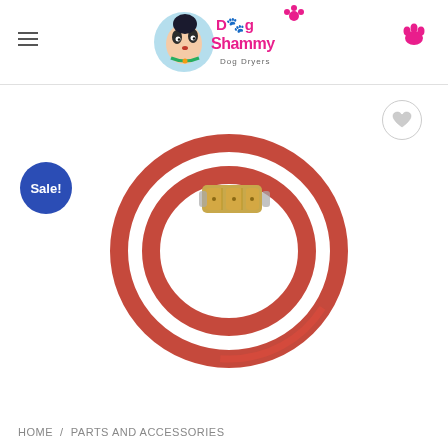Dog Shammy Dog Dryers
[Figure (photo): Red coiled hose/cable with brass combination lock connector, coiled in a circle on white background. A blue circular 'Sale!' badge is in the upper left. A heart/wishlist button is in the upper right.]
HOME / PARTS AND ACCESSORIES